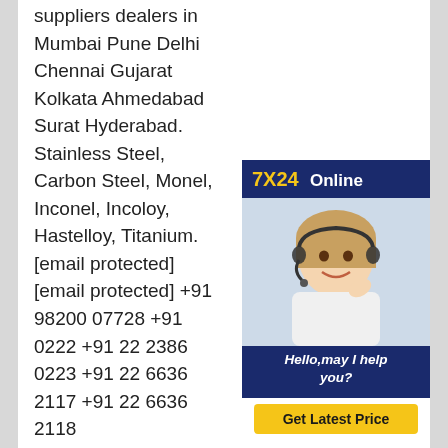suppliers dealers in Mumbai Pune Delhi Chennai Gujarat Kolkata Ahmedabad Surat Hyderabad. Stainless Steel, Carbon Steel, Monel, Inconel, Incoloy, Hastelloy, Titanium. [email protected] [email protected] +91 98200 07728 +91 0222 +91 22 2386 0223 +91 22 6636 2117 +91 22 6636 2118
[Figure (other): 7X24 Online customer support widget with woman wearing headset and 'Hello, may I help you?' text and 'Get Latest Price' button]
Aluminum Pipe Stainless Steel Pipe48mm stainless steel pipe, 48mm stainless steel pipe qualified supplier, 48mm stainless pipe
A wide variety of 48mm stainless steel pipe options are available to you, such as 300 series, 200 series. You can also choose from jis, astm, and aisi 48mm stainless steel pipe, as well as from iso